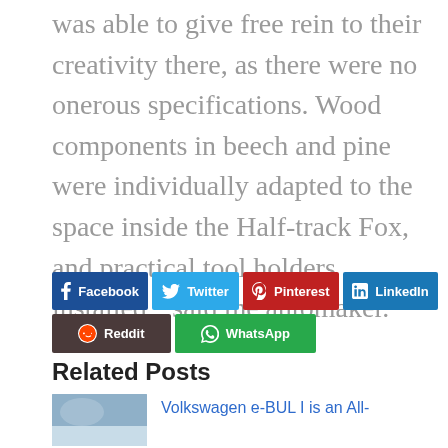was able to give free rein to their creativity there, as there were no onerous specifications. Wood components in beech and pine were individually adapted to the space inside the Half-track Fox, and practical tool holders installed,” said the automaker.
Facebook
Twitter
Pinterest
LinkedIn
Reddit
WhatsApp
Related Posts
Volkswagen e-BUL I is an All-